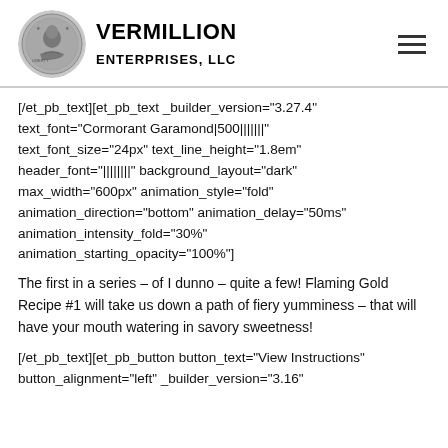[Figure (logo): Vermillion Enterprises LLC logo with coin image and text]
[/et_pb_text][et_pb_text _builder_version="3.27.4" text_font="Cormorant Garamond|500|||||||" text_font_size="24px" text_line_height="1.8em" header_font="||||||||" background_layout="dark" max_width="600px" animation_style="fold" animation_direction="bottom" animation_delay="50ms" animation_intensity_fold="30%" animation_starting_opacity="100%"]
The first in a series – of I dunno – quite a few! Flaming Gold Recipe #1 will take us down a path of fiery yumminess – that will have your mouth watering in savory sweetness!
[/et_pb_text][et_pb_button button_text="View Instructions" button_alignment="left" _builder_version="3.16"